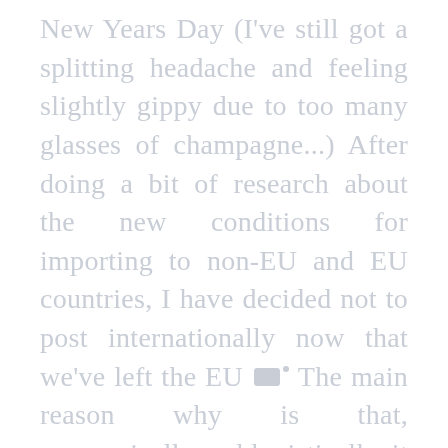New Years Day (I've still got a splitting headache and feeling slightly gippy due to too many glasses of champagne...) After doing a bit of research about the new conditions for importing to non-EU and EU countries, I have decided not to post internationally now that we've left the EU 🏴󠁧󠁢󠁥󠁮󠁧󠁿. The main reason why is that, economically and logistically, it makes no sense for me to spend loads of admin time and costs to sending things abroad especially when things are still up in the air. I am happy to be filling out the CN22 form but I've come to the conclusion that I'd rather spend my energy